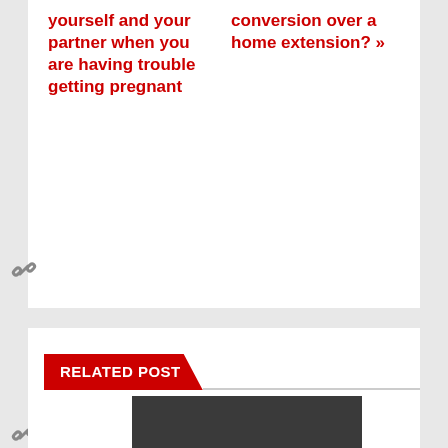yourself and your partner when you are having trouble getting pregnant
conversion over a home extension? »
[Figure (other): Link/chain icon]
[Figure (other): User avatar placeholder circle with person silhouette]
By admin
[Figure (other): Link/chain icon]
RELATED POST
[Figure (photo): Dark colored rectangular image placeholder]
[Figure (other): Scroll to top button with up arrow chevron, red background]